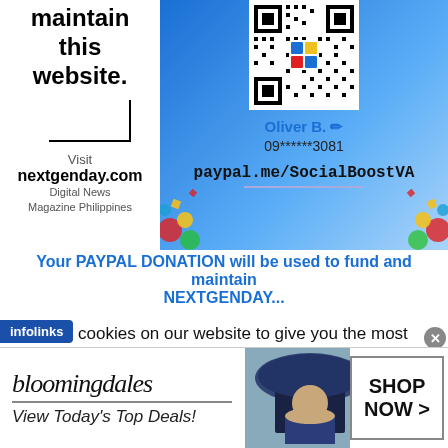maintain this website.
[Figure (illustration): Blue gradient QR code panel with Oliver B. GCash payment info, PayPal link, and confetti decoration]
Visit nextgenday.com Digital News Magazine Philippines
Your PAYPAL DONATION will be used to fund and maintain NEXTGENDAY...
We use cookies on our website to give you the most relevant experience by remembering your preferences and repeat visits. By clicking “Accept”, you consent to the use ...
[Figure (illustration): Bloomingdale's advertisement banner with woman in hat and Shop Now button]